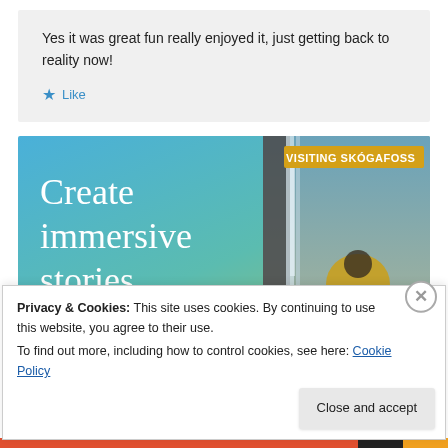Yes it was great fun really enjoyed it, just getting back to reality now!
★ Like
[Figure (illustration): Advertisement banner with blue-green gradient background on the left side with white serif text reading 'Create immersive stories.' and on the right a phone screenshot showing a waterfall scene labeled 'VISITING SKÓGAFOSS' with a person in a yellow jacket.]
Privacy & Cookies: This site uses cookies. By continuing to use this website, you agree to their use.
To find out more, including how to control cookies, see here: Cookie Policy
Close and accept